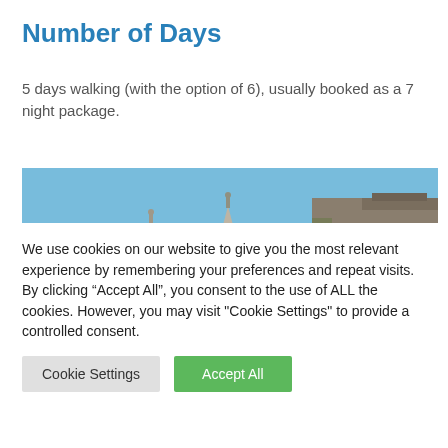Number of Days
5 days walking (with the option of 6), usually booked as a 7 night package.
[Figure (photo): Photograph looking up at the spires and stone facade of a cathedral against a clear blue sky]
We use cookies on our website to give you the most relevant experience by remembering your preferences and repeat visits. By clicking “Accept All”, you consent to the use of ALL the cookies. However, you may visit "Cookie Settings" to provide a controlled consent.